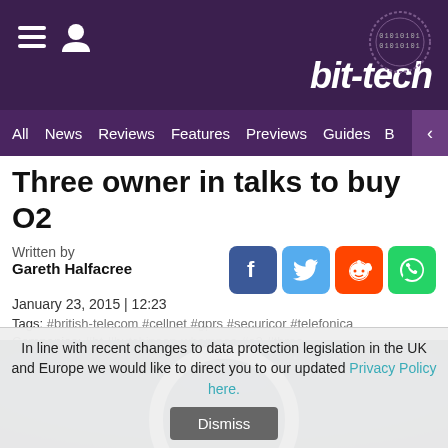bit-tech
All  News  Reviews  Features  Previews  Guides  B
Three owner in talks to buy O2
Written by
Gareth Halfacree
January 23, 2015 | 12:23
Tags: #british-telecom #cellnet #gprs #securicor #telefonica
Companies: #bt #hutchinson-whampoa #o2 #three
[Figure (photo): Dark blue background image showing a glowing ring/arch shape, likely the O2 logo]
In line with recent changes to data protection legislation in the UK and Europe we would like to direct you to our updated Privacy Policy here.